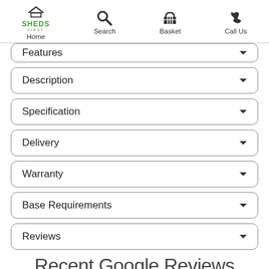Home | Search | Basket | Call Us
Features
Description
Specification
Delivery
Warranty
Base Requirements
Reviews
Recent Google Reviews